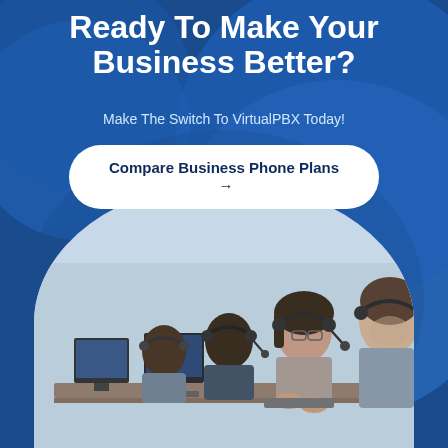Ready To Make Your Business Better?
Make The Switch To VirtualPBX Today!
Compare Business Phone Plans →
[Figure (photo): Call center workers wearing headsets sitting in a row at computer workstations, viewed from the side, with the foreground showing a man and woman in focus]